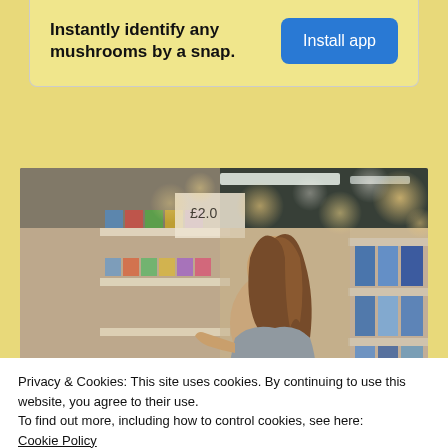[Figure (infographic): App advertisement banner with yellow background showing text 'Instantly identify any mushrooms by a snap.' and a blue 'Install app' button]
[Figure (photo): Woman browsing products in a pharmacy or grocery store aisle, looking at shelves with various products, warm bokeh lighting in background]
Privacy & Cookies: This site uses cookies. By continuing to use this website, you agree to their use.
To find out more, including how to control cookies, see here:
Cookie Policy
Close and accept
Sizing Up Your Psoriasis Medicine